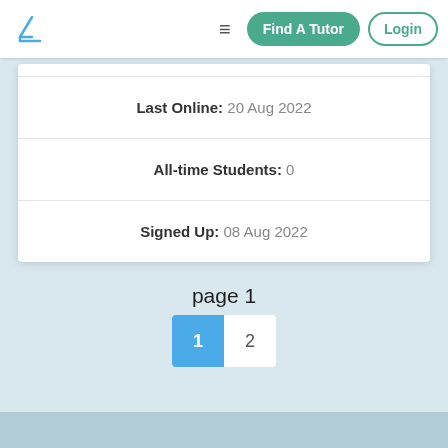Find A Tutor | Login
| Last Online: 20 Aug 2022 |
| All-time Students: 0 |
| Signed Up: 08 Aug 2022 |
page 1
1  2